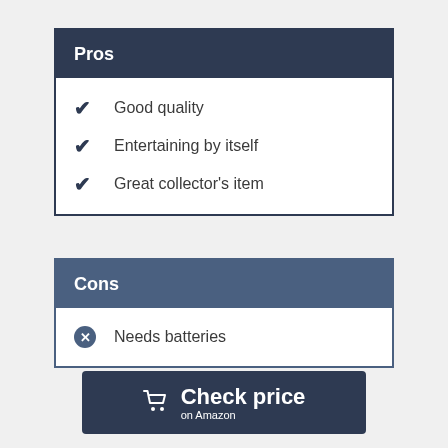Pros
Good quality
Entertaining by itself
Great collector's item
Cons
Needs batteries
Check price on Amazon